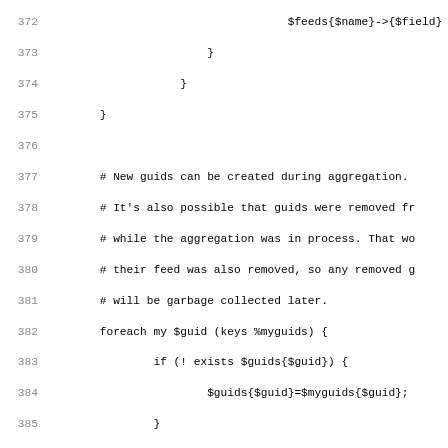Source code listing lines 372-403, Perl code for aggregation/expire subroutines